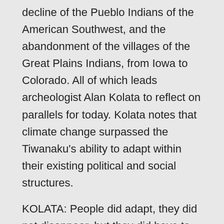decline of the Pueblo Indians of the American Southwest, and the abandonment of the villages of the Great Plains Indians, from Iowa to Colorado. All of which leads archeologist Alan Kolata to reflect on parallels for today. Kolata notes that climate change surpassed the Tiwanaku's ability to adapt within their existing political and social structures.
KOLATA: People did adapt, they did not disappear, but they did have to change how they lived. They no longer lived in splendid cities, so there is a morality tale here, in that sense, that we can't be so presumptuous that technology, any technology that we can invent will somehow automatically save us. It's not as if this is something that happened in the past, and may never occur again. The assumption here is that it will occur again.